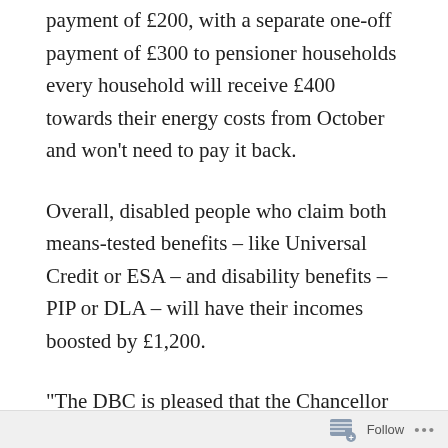payment of £200, with a separate one-off payment of £300 to pensioner households every household will receive £400 towards their energy costs from October and won't need to pay it back.
Overall, disabled people who claim both means-tested benefits – like Universal Credit or ESA – and disability benefits – PIP or DLA – will have their incomes boosted by £1,200.
“The DBC is pleased that the Chancellor has listened to the concerns of disabled people claiming legacy benefits and recognised the
Follow